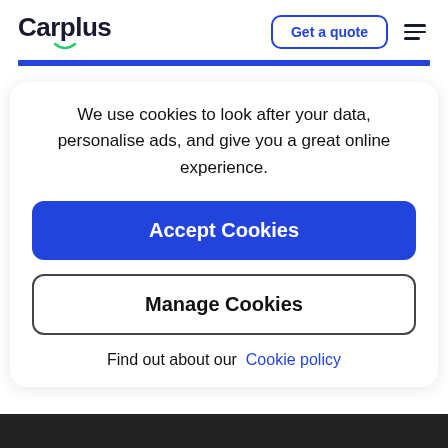Carplus | Get a quote
We use cookies to look after your data, personalise ads, and give you a great online experience.
Accept Cookies
Manage Cookies
Find out about our Cookie policy